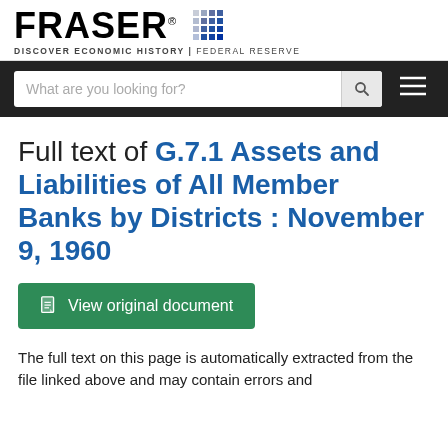[Figure (logo): FRASER logo — Federal Reserve Economic Data — with tagline 'DISCOVER ECONOMIC HISTORY | FEDERAL RESERVE']
[Figure (screenshot): Search bar with placeholder 'What are you looking for?' and search icon, plus hamburger menu icon on dark background]
Full text of G.7.1 Assets and Liabilities of All Member Banks by Districts : November 9, 1960
[Figure (other): Green button labeled 'View original document' with document icon]
The full text on this page is automatically extracted from the file linked above and may contain errors and